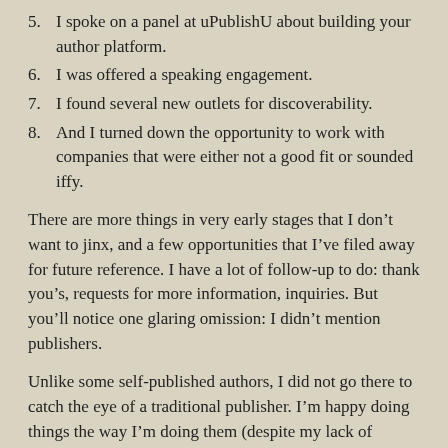5. I spoke on a panel at uPublishU about building your author platform.
6. I was offered a speaking engagement.
7. I found several new outlets for discoverability.
8. And I turned down the opportunity to work with companies that were either not a good fit or sounded iffy.
There are more things in very early stages that I don’t want to jinx, and a few opportunities that I’ve filed away for future reference. I have a lot of follow-up to do: thank you’s, requests for more information, inquiries. But you’ll notice one glaring omission: I didn’t mention publishers.
Unlike some self-published authors, I did not go there to catch the eye of a traditional publisher. I’m happy doing things the way I’m doing them (despite my lack of patience with the process at times).
[Figure (photo): A partial image visible at the bottom left of the page, appearing as a light-colored rectangular area.]
As much as the internet has